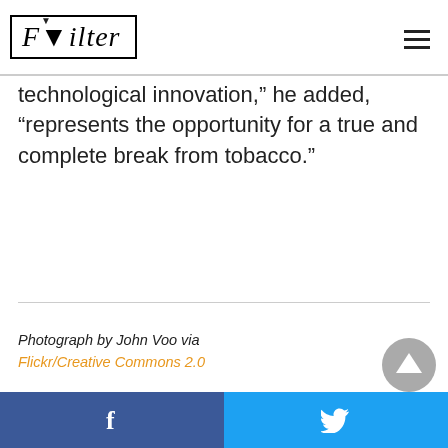Filter
technological innovation,” he added, “represents the opportunity for a true and complete break from tobacco.”
Photograph by John Voo via Flickr/Creative Commons 2.0
Facebook share | Twitter share